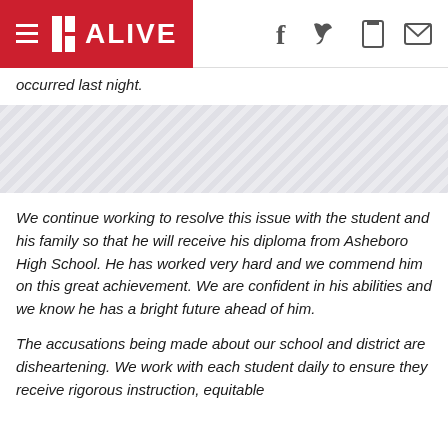11 ALIVE
occurred last night.
[Figure (other): Diagonal striped advertising banner placeholder]
We continue working to resolve this issue with the student and his family so that he will receive his diploma from Asheboro High School. He has worked very hard and we commend him on this great achievement. We are confident in his abilities and we know he has a bright future ahead of him.
The accusations being made about our school and district are disheartening. We work with each student daily to ensure they receive rigorous instruction, equitable